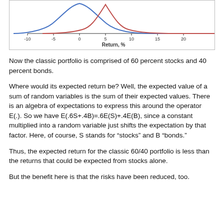[Figure (continuous-plot): Partial view of two bell curves (blue and red) showing return distributions. X-axis labeled 'Return, %' with ticks from -10 to 20. The blue curve peaks near 0 and the red curve peaks near 5.]
Now the classic portfolio is comprised of 60 percent stocks and 40 percent bonds.
Where would its expected return be? Well, the expected value of a sum of random variables is the sum of their expected values. There is an algebra of expectations to express this around the operator E(.). So we have E(.6S+.4B)=.6E(S)+.4E(B), since a constant multiplied into a random variable just shifts the expectation by that factor. Here, of course, S stands for “stocks” and B “bonds.”
Thus, the expected return for the classic 60/40 portfolio is less than the returns that could be expected from stocks alone.
But the benefit here is that the risks have been reduced, too.